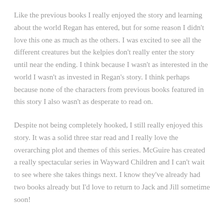Like the previous books I really enjoyed the story and learning about the world Regan has entered, but for some reason I didn't love this one as much as the others. I was excited to see all the different creatures but the kelpies don't really enter the story until near the ending. I think because I wasn't as interested in the world I wasn't as invested in Regan's story. I think perhaps because none of the characters from previous books featured in this story I also wasn't as desperate to read on.
Despite not being completely hooked, I still really enjoyed this story. It was a solid three star read and I really love the overarching plot and themes of this series. McGuire has created a really spectacular series in Wayward Children and I can't wait to see where she takes things next. I know they've already had two books already but I'd love to return to Jack and Jill sometime soon!